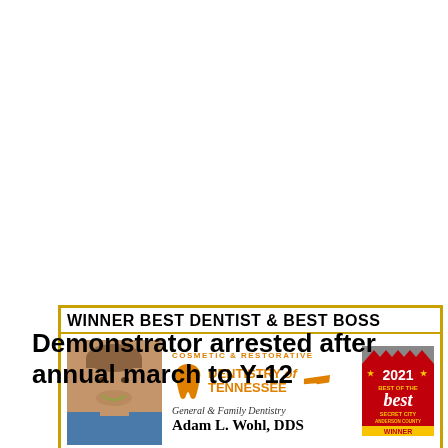[Figure (illustration): Advertisement banner for Dentistry of Tennessee, featuring 'WINNER BEST DENTIST & BEST BOSS', a photo of Adam L. Wohl DDS, the practice logo with tooth graphic, 2021 Best of the Best Secret City Anderson County winner badge, phone number (865) 483-2356, website dentistryoftn.com, and address 150 E. Division Rd. Suite 7, Oak Ridge, TN 37830]
Demonstrator arrested after annual march to Y-12